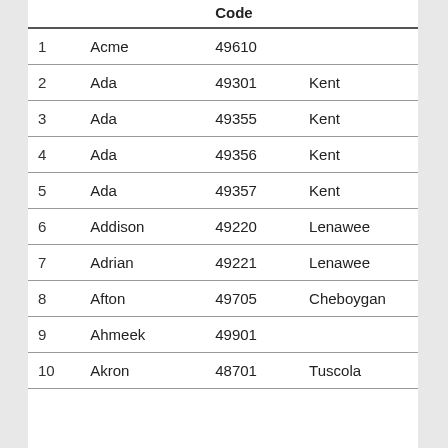|  |  | Code |  |
| --- | --- | --- | --- |
| 1 | Acme | 49610 |  |
| 2 | Ada | 49301 | Kent |
| 3 | Ada | 49355 | Kent |
| 4 | Ada | 49356 | Kent |
| 5 | Ada | 49357 | Kent |
| 6 | Addison | 49220 | Lenawee |
| 7 | Adrian | 49221 | Lenawee |
| 8 | Afton | 49705 | Cheboygan |
| 9 | Ahmeek | 49901 |  |
| 10 | Akron | 48701 | Tuscola |